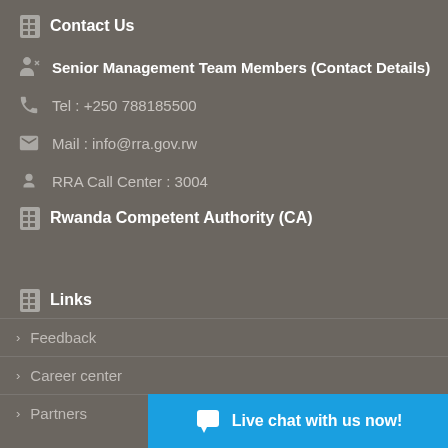Contact Us
Senior Management Team Members (Contact Details)
Tel : +250 788185500
Mail : info@rra.gov.rw
RRA Call Center : 3004
Rwanda Competent Authority (CA)
Links
Feedback
Career center
Partners
Live chat with us now!